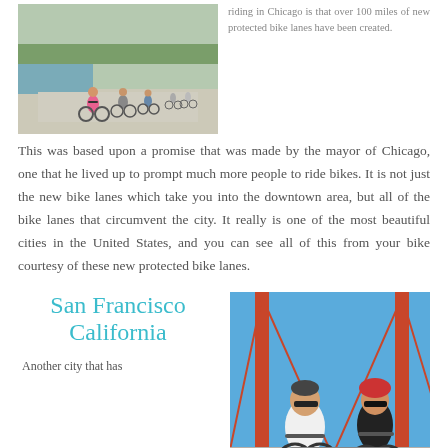[Figure (photo): Group of cyclists riding on a bike path near water in Chicago]
riding in Chicago is that over 100 miles of new protected bike lanes have been created. This was based upon a promise that was made by the mayor of Chicago, one that he lived up to prompt much more people to ride bikes. It is not just the new bike lanes which take you into the downtown area, but all of the bike lanes that circumvent the city. It really is one of the most beautiful cities in the United States, and you can see all of this from your bike courtesy of these new protected bike lanes.
San Francisco California
[Figure (photo): Two cyclists riding bikes on the Golden Gate Bridge with blue sky]
Another city that has